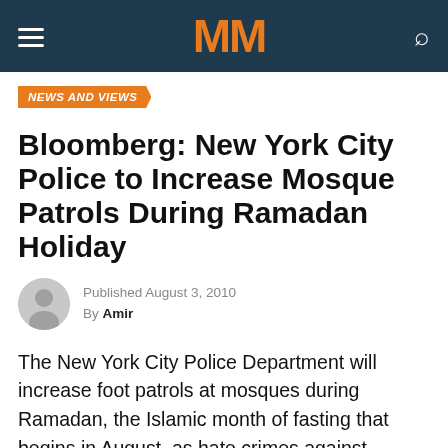MM
NEWS AND VIEWS
Bloomberg: New York City Police to Increase Mosque Patrols During Ramadan Holiday
Published August 3, 2010
By Amir
The New York City Police Department will increase foot patrols at mosques during Ramadan, the Islamic month of fasting that begins in August, as hate crimes against Muslims have increased from last year.